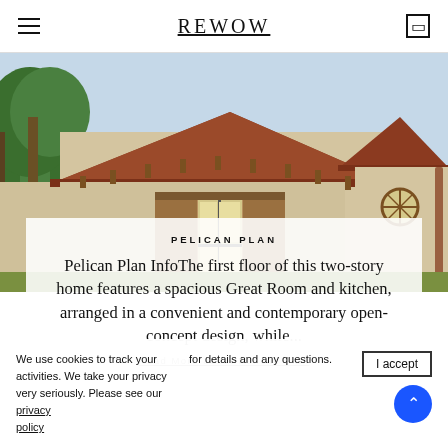REWOW
[Figure (photo): Exterior photo of a Spanish-style two-story home with terracotta tile roof, stucco walls, wooden shuttered windows, and palm trees]
PELICAN PLAN
Pelican Plan InfoThe first floor of this two-story home features a spacious Great Room and kitchen, arranged in a convenient and contemporary open-concept design, while...
Read More about Pelican Plan
We use cookies to track your activities. We take your privacy very seriously. Please see our privacy policy for details and any questions.
I accept